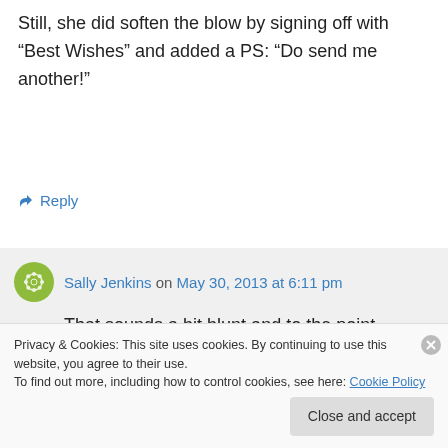Still, she did soften the blow by signing off with “Best Wishes” and added a PS: “Do send me another!”
↵ Reply
Sally Jenkins on May 30, 2013 at 6:11 pm
That sounds a bit blunt and to the point, Douglas! And the mind boggles at what your story was about...
Privacy & Cookies: This site uses cookies. By continuing to use this website, you agree to their use.
To find out more, including how to control cookies, see here: Cookie Policy